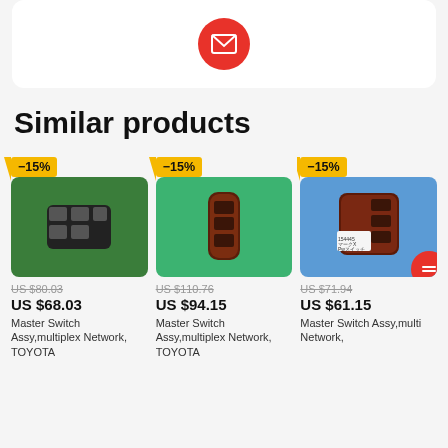[Figure (screenshot): Red circular email/message button icon on a white card background]
Similar products
[Figure (photo): Car master switch assy product image on green background, with -15% badge, old price US $80.03, new price US $68.03]
[Figure (photo): Car master switch assy product image on green background, with -15% badge, old price US $110.76, new price US $94.15]
[Figure (photo): Car master switch assy product image on blue background, with -15% badge, old price US $71.94, new price US $61.15]